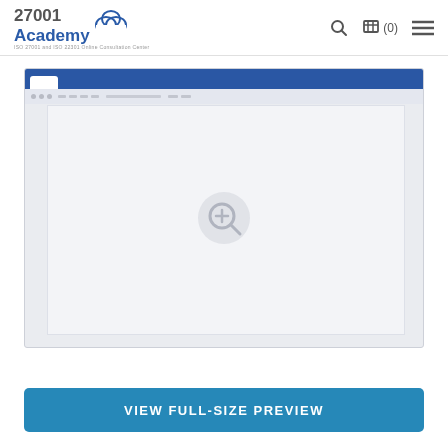27001Academy — ISO 27001 and ISO 22301 Online Consultation Center | Cart (0) | Menu
[Figure (screenshot): Browser window mockup with blue title bar, toolbar with dots and bars, and a large light gray content area with a zoom/magnify plus icon in the center]
VIEW FULL-SIZE PREVIEW